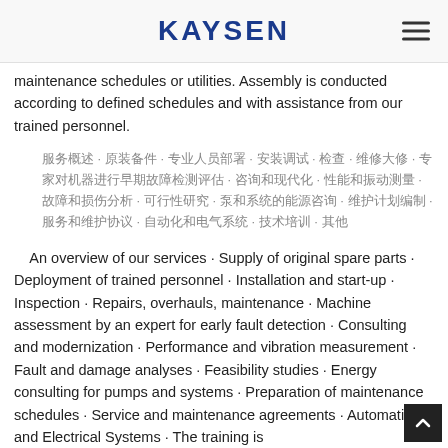KAYSEN
maintenance schedules or utilities. Assembly is conducted according to defined schedules and with assistance from our trained personnel.
服务概述 · 原装备件 · 专业人员部署 · 安装调试 · 检查 · 维修大修 · 专家对机器进行早期故障检测评估 · 咨询和现代化 · 性能和振动测量 · 故障和损伤分析 · 可行性研究 · 泵和系统的能源咨询 · 维护计划编制 · 服务和维护协议 · 自动化和电气系统 · 技术培训 · 其他
An overview of our services · Supply of original spare parts · Deployment of trained personnel · Installation and start-up · Inspection · Repairs, overhauls, maintenance · Machine assessment by an expert for early fault detection · Consulting and modernization · Performance and vibration measurement · Fault and damage analyses · Feasibility studies · Energy consulting for pumps and systems · Preparation of maintenance schedules · Service and maintenance agreements · Automation and Electrical Systems · Technical training ·